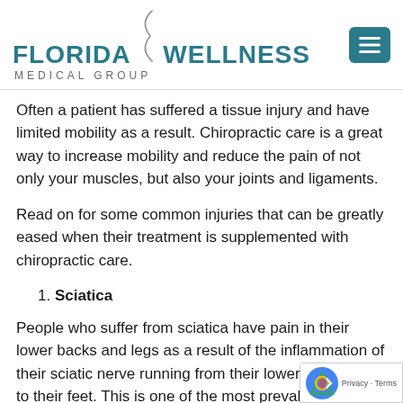[Figure (logo): Florida Wellness Medical Group logo with teal text and decorative curve, plus teal hamburger menu button on the right]
Often a patient has suffered a tissue injury and have limited mobility as a result. Chiropractic care is a great way to increase mobility and reduce the pain of not only your muscles, but also your joints and ligaments.
Read on for some common injuries that can be greatly eased when their treatment is supplemented with chiropractic care.
1. Sciatica
People who suffer from sciatica have pain in their lower backs and legs as a result of the inflammation of their sciatic nerve running from their lower spine down to their feet. This is one of the most prevalent nerve issues that